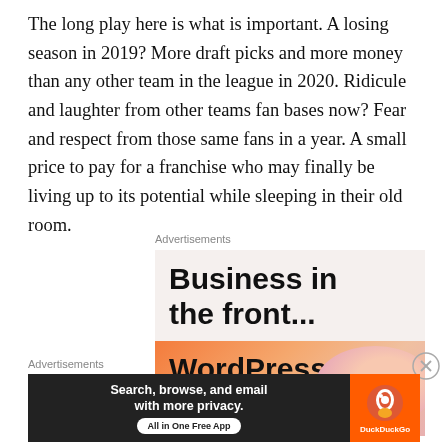The long play here is what is important. A losing season in 2019? More draft picks and more money than any other team in the league in 2020. Ridicule and laughter from other teams fan bases now? Fear and respect from those same fans in a year. A small price to pay for a franchise who may finally be living up to its potential while sleeping in their old room.
Advertisements
[Figure (illustration): Advertisement banner: 'Business in the front...' text on light beige background, with WordPress orange gradient section showing 'WordPress in the back' text partially visible]
Advertisements
[Figure (illustration): DuckDuckGo advertisement banner: 'Search, browse, and email with more privacy. All in One Free App' on dark background with DuckDuckGo logo on orange right section]